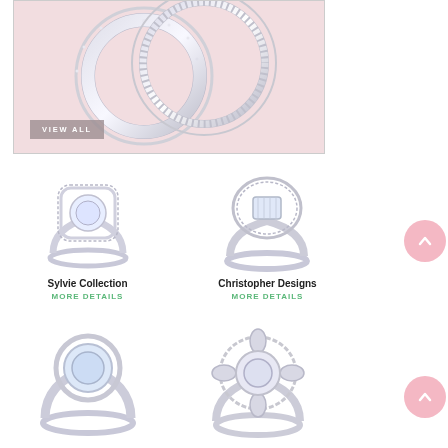[Figure (photo): Two interlocking diamond wedding bands on pink background with VIEW ALL button]
[Figure (photo): Sylvie Collection diamond halo engagement ring on white background]
Sylvie Collection
MORE DETAILS
[Figure (photo): Christopher Designs baguette halo engagement ring on white background]
Christopher Designs
MORE DETAILS
[Figure (photo): Bezel-set oval diamond ring partially visible]
[Figure (photo): Floral halo diamond engagement ring partially visible]